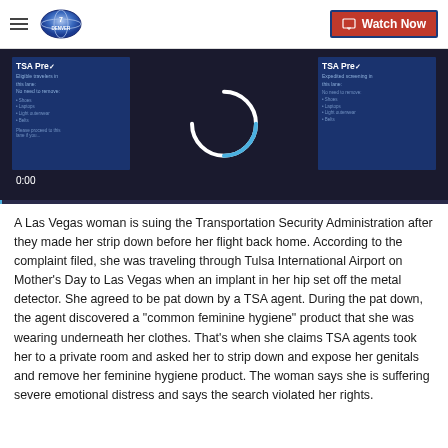Denver 7 — Watch Now
[Figure (screenshot): Video player showing TSA Pre-check signs at an airport, with a loading spinner overlay and timestamp 0:00]
A Las Vegas woman is suing the Transportation Security Administration after they made her strip down before her flight back home. According to the complaint filed, she was traveling through Tulsa International Airport on Mother's Day to Las Vegas when an implant in her hip set off the metal detector. She agreed to be pat down by a TSA agent. During the pat down, the agent discovered a "common feminine hygiene" product that she was wearing underneath her clothes. That's when she claims TSA agents took her to a private room and asked her to strip down and expose her genitals and remove her feminine hygiene product. The woman says she is suffering severe emotional distress and says the search violated her rights.